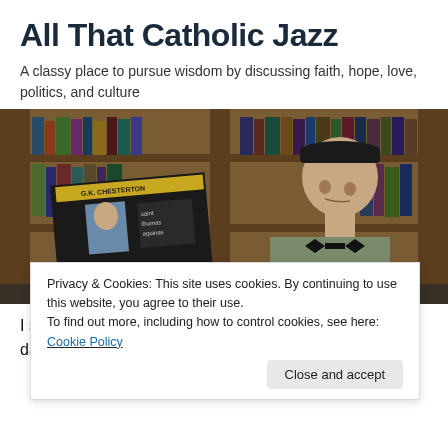All That Catholic Jazz
A classy place to pursue wisdom by discussing faith, hope, love, politics, and culture
[Figure (photo): A young man wearing a beret-style hat and bow tie holds up a G.K. Chesterton book while sitting in front of a wooden bookshelf filled with books.]
Privacy & Cookies: This site uses cookies. By continuing to use this website, you agree to their use.
To find out more, including how to control cookies, see here: Cookie Policy
Close and accept
I spent my childhood surrounded by superheroes. My dad